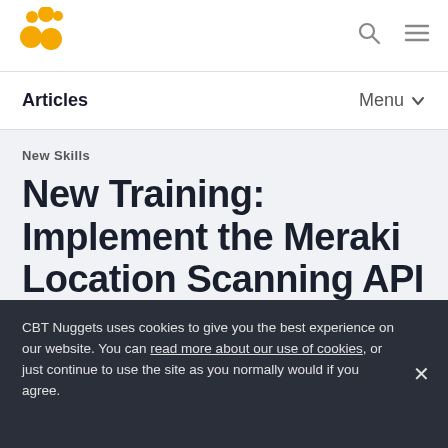[Figure (logo): CBT Nuggets logo — yellow/orange circles arranged in a 2x2 cluster pattern]
Articles   Menu
New Skills
New Training: Implement the Meraki Location Scanning API
by Team Nuggets
CBT Nuggets uses cookies to give you the best experience on our website. You can read more about our use of cookies, or just continue to use the site as you normally would if you agree.